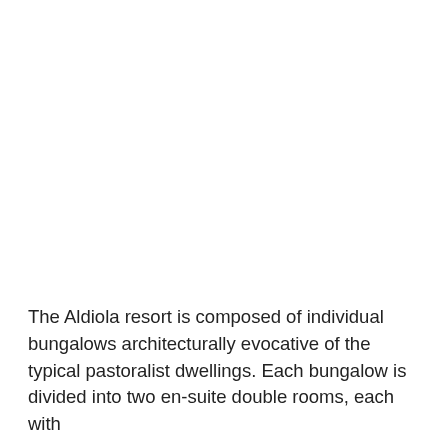The Aldiola resort is composed of individual bungalows architecturally evocative of the typical pastoralist dwellings. Each bungalow is divided into two en-suite double rooms, each with